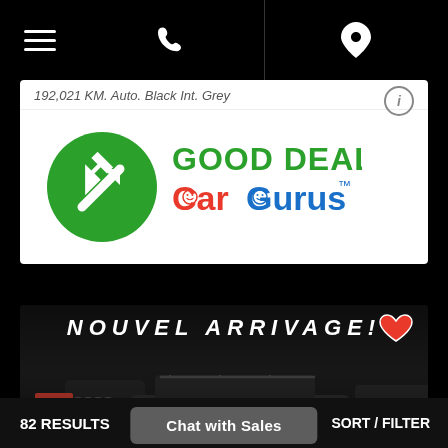Navigation bar with hamburger menu, phone, and location icons
192,021 KM. Auto. Black Int. Grey
[Figure (logo): CarGurus GOOD DEAL badge logo with green circle arrow and CarGurus wordmark in red and blue]
[Figure (photo): Dark car dealership lot showing Audi and Honda vehicles with 'NOUVEL ARRIVAGE!' text overlay and heart icon]
82 RESULTS   SORT / FILTER   Chat with Sales